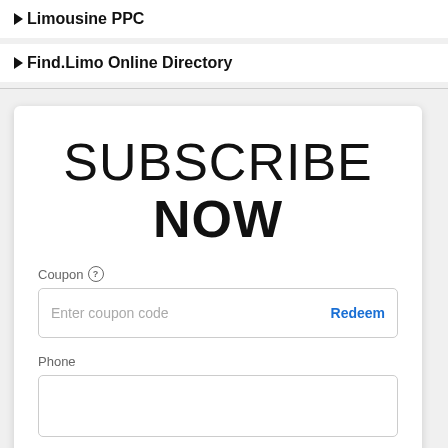Limousine PPC
Find.Limo Online Directory
SUBSCRIBE NOW
Coupon
Enter coupon code
Redeem
Phone
Company